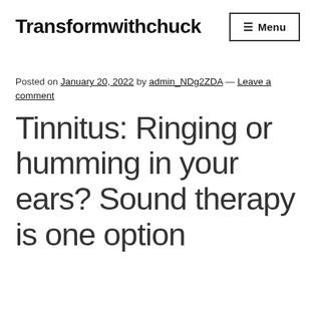Transformwithchuck
Posted on January 20, 2022 by admin_NDg2ZDA — Leave a comment
Tinnitus: Ringing or humming in your ears? Sound therapy is one option